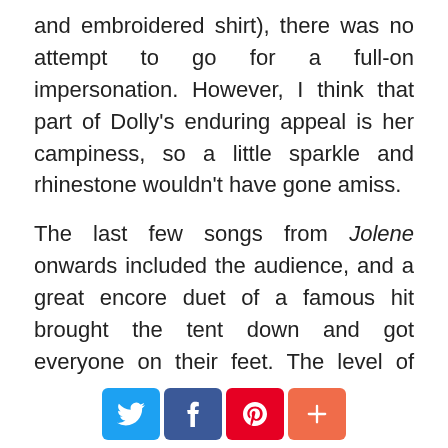and embroidered shirt), there was no attempt to go for a full-on impersonation. However, I think that part of Dolly's enduring appeal is her campiness, so a little sparkle and rhinestone wouldn't have gone amiss.
The last few songs from Jolene onwards included the audience, and a great encore duet of a famous hit brought the tent down and got everyone on their feet. The level of appreciation shows that country music is alive and well in Brighton and points the way towards a regular country venue. I remember the glory days when Butch Hancock, Joe Ely and Jimmie Dale Gilmore performed in the 80's in a little pub on the London Road. Surely the time is right for
[Figure (infographic): Social sharing buttons: Twitter (blue), Facebook (dark blue), Pinterest (red), More/plus (orange-red)]